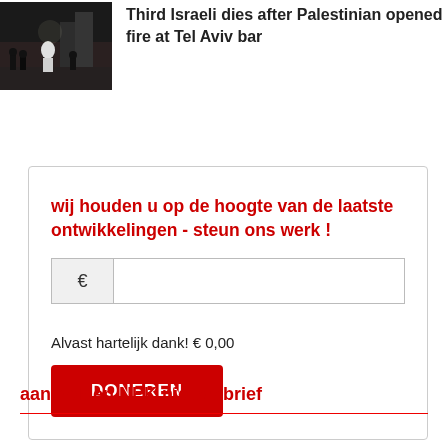[Figure (photo): Night scene photo showing armed figures/soldiers in dark street setting]
Third Israeli dies after Palestinian opened fire at Tel Aviv bar
wij houden u op de hoogte van de laatste ontwikkelingen - steun ons werk !
Alvast hartelijk dank! € 0,00
DONEREN
aanmelden NPK nieuwsbrief